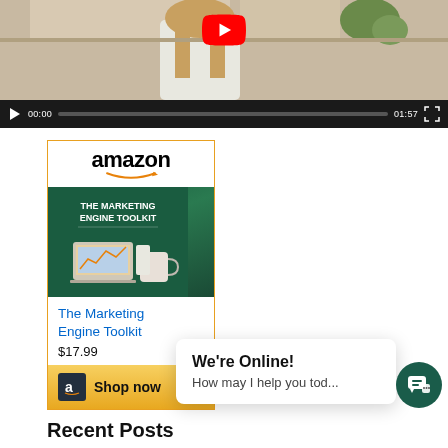[Figure (screenshot): YouTube video player showing a woman in a kitchen with video controls: play button, timestamp 00:00, progress bar, duration 01:57, fullscreen button]
[Figure (screenshot): Amazon affiliate ad for 'The Marketing Engine Toolkit' priced at $17.99 with Shop now button]
[Figure (screenshot): Chat popup widget saying 'We're Online! How may I help you tod...' with dark teal chat bubble button]
Recent Posts